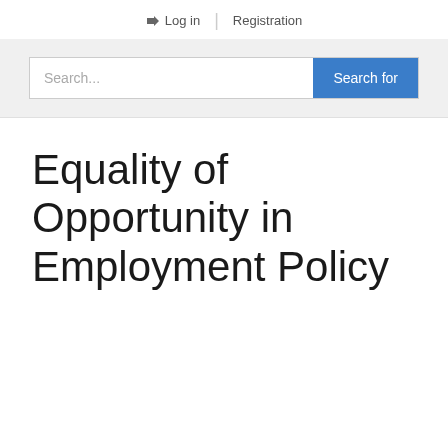Log in | Registration
Search...
Equality of Opportunity in Employment Policy